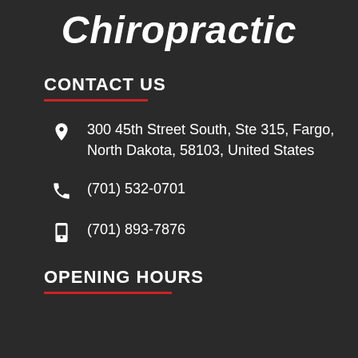Chiropractic
CONTACT US
300 45th Street South, Ste 315, Fargo, North Dakota, 58103, United States
(701) 532-0701
(701) 893-7876
OPENING HOURS